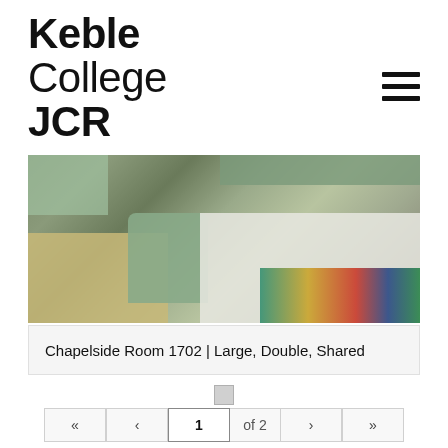Keble College JCR
[Figure (photo): Interior photo of a college room showing a desk on the left, a green armchair in the center, and a single bed with white bedding and a colorful blanket on the right. Green curtains visible at the top. Room has green-painted walls.]
Chapelside Room 1702 | Large, Double, Shared
1 of 2